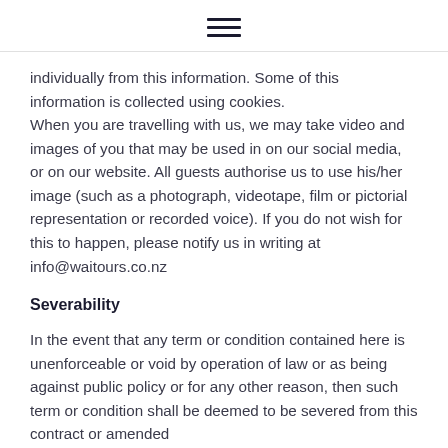hamburger menu icon
individually from this information. Some of this information is collected using cookies.
When you are travelling with us, we may take video and images of you that may be used in on our social media, or on our website. All guests authorise us to use his/her image (such as a photograph, videotape, film or pictorial representation or recorded voice). If you do not wish for this to happen, please notify us in writing at info@waitours.co.nz
Severability
In the event that any term or condition contained here is unenforceable or void by operation of law or as being against public policy or for any other reason, then such term or condition shall be deemed to be severed from this contract or amended